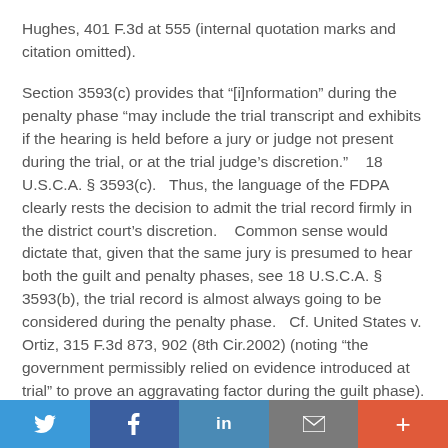Hughes, 401 F.3d at 555 (internal quotation marks and citation omitted).
Section 3593(c) provides that “[i]nformation” during the penalty phase “may include the trial transcript and exhibits if the hearing is held before a jury or judge not present during the trial, or at the trial judge's discretion.”    18 U.S.C.A. § 3593(c).   Thus, the language of the FDPA clearly rests the decision to admit the trial record firmly in the district court's discretion.    Common sense would dictate that, given that the same jury is presumed to hear both the guilt and penalty phases, see 18 U.S.C.A. §  3593(b), the trial record is almost always going to be considered during the penalty phase.   Cf. United States v. Ortiz, 315 F.3d 873, 902 (8th Cir.2002) (noting “the government permissibly relied on evidence introduced at trial” to prove an aggravating factor during the guilt phase).
Twitter | Facebook | LinkedIn | Email | More